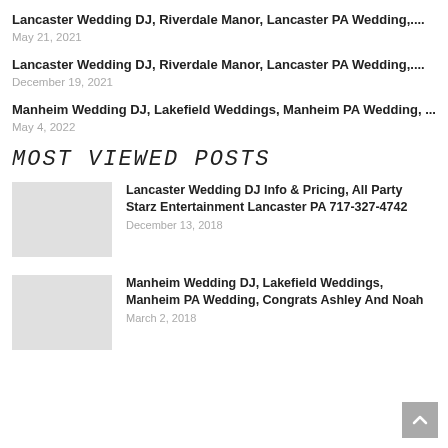Lancaster Wedding DJ, Riverdale Manor, Lancaster PA Wedding,...
May 21, 2021
Lancaster Wedding DJ, Riverdale Manor, Lancaster PA Wedding,...
December 19, 2021
Manheim Wedding DJ, Lakefield Weddings, Manheim PA Wedding, ...
May 4, 2022
MOST VIEWED POSTS
Lancaster Wedding DJ Info & Pricing, All Party Starz Entertainment Lancaster PA 717-327-4742
December 13, 2018
Manheim Wedding DJ, Lakefield Weddings, Manheim PA Wedding, Congrats Ashley And Noah
March 2, 2018